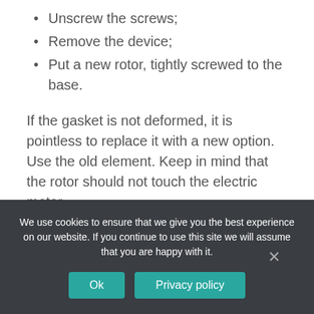Unscrew the screws;
Remove the device;
Put a new rotor, tightly screwed to the base.
If the gasket is not deformed, it is pointless to replace it with a new option. Use the old element. Keep in mind that the rotor should not touch the electric motor.
How to fix a control unit?
The control unit breaks due to worm gear. This problem can be eliminated independently by following the instructions.
We use cookies to ensure that we give you the best experience on our website. If you continue to use this site we will assume that you are happy with it.